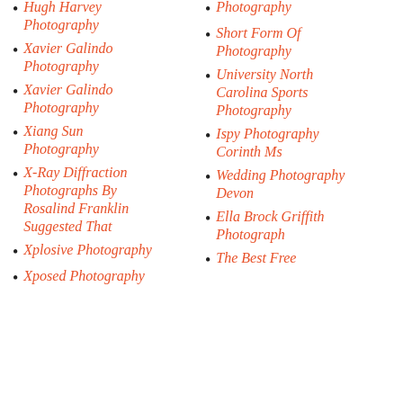Hugh Harvey Photography
Xavier Galindo Photography
Xavier Galindo Photography
Xiang Sun Photography
X-Ray Diffraction Photographs By Rosalind Franklin Suggested That
Xplosive Photography
Xposed Photography
Photography
Short Form Of Photography
University North Carolina Sports Photography
Ispy Photography Corinth Ms
Wedding Photography Devon
Ella Brock Griffith Photograph
The Best Free